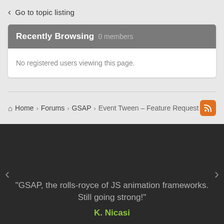< Go to topic listing
Recently Browsing   0 members
No registered users viewing this page.
Home › Forums › GSAP › Event Tween – Feature Request
[Figure (illustration): RSS feed icon — white wifi-style arc symbol on orange rounded square button]
“GSAP, the rolls-royce of JS animation frameworks. Still going strong!”
K. Nicasi